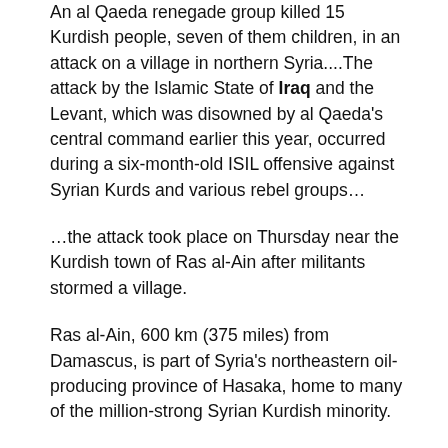An al Qaeda renegade group killed 15 Kurdish people, seven of them children, in an attack on a village in northern Syria....The attack by the Islamic State of Iraq and the Levant, which was disowned by al Qaeda's central command earlier this year, occurred during a six-month-old ISIL offensive against Syrian Kurds and various rebel groups...
...the attack took place on Thursday near the Kurdish town of Ras al-Ain after militants stormed a village.
Ras al-Ain, 600 km (375 miles) from Damascus, is part of Syria's northeastern oil-producing province of Hasaka, home to many of the million-strong Syrian Kurdish minority.
In one Reuters photograph, six bodies could be